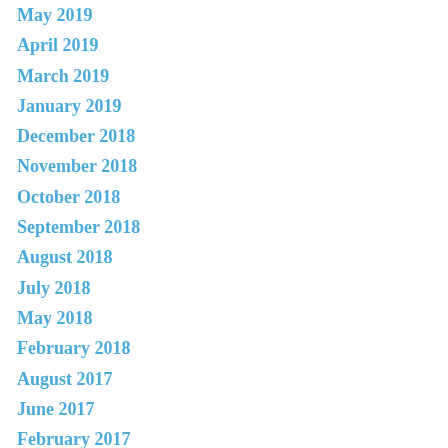May 2019
April 2019
March 2019
January 2019
December 2018
November 2018
October 2018
September 2018
August 2018
July 2018
May 2018
February 2018
August 2017
June 2017
February 2017
November 2016
July 2016
June 2016
May 2016
April 2016